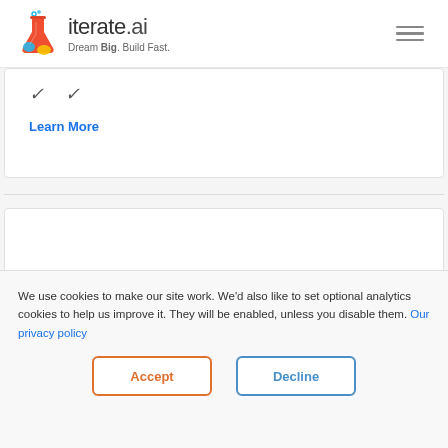iterate.ai — Dream Big. Build Fast.
[Figure (logo): iterate.ai logo with colorful flask icon and tagline 'Dream Big. Build Fast.']
Learn More
[Figure (photo): Empty white card area below a separator line]
We use cookies to make our site work. We'd also like to set optional analytics cookies to help us improve it. They will be enabled, unless you disable them. Our privacy policy
Accept
Decline